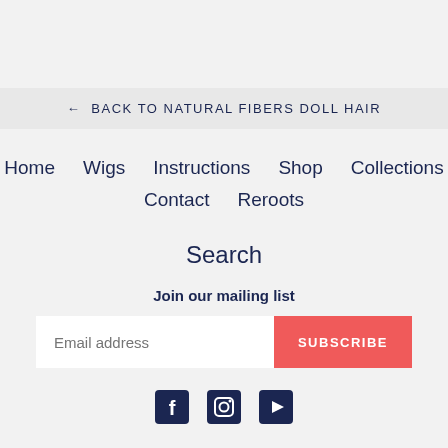← BACK TO NATURAL FIBERS DOLL HAIR
Home
Wigs
Instructions
Shop
Collections
Contact
Reroots
Search
Join our mailing list
[Figure (other): Email address input field and SUBSCRIBE button]
[Figure (other): Social media icons: Facebook, Instagram, YouTube]